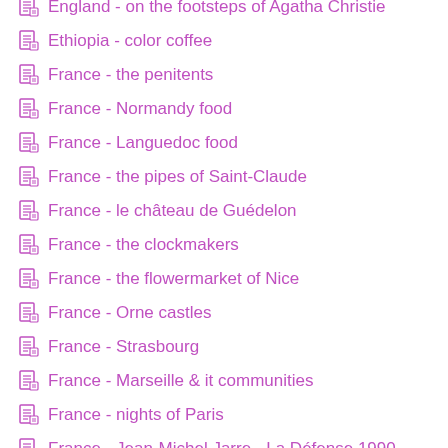England - on the footsteps of Agatha Christie
Ethiopia - color coffee
France - the penitents
France - Normandy food
France - Languedoc food
France - the pipes of Saint-Claude
France - le château de Guédelon
France - the clockmakers
France - the flowermarket of Nice
France - Orne castles
France - Strasbourg
France - Marseille & it communities
France - nights of Paris
France - Jean-Michel Jarre - La Défense 1990
France - rice of Camargue
France - Olympia Hall backstage
France - spice bread in Alsace